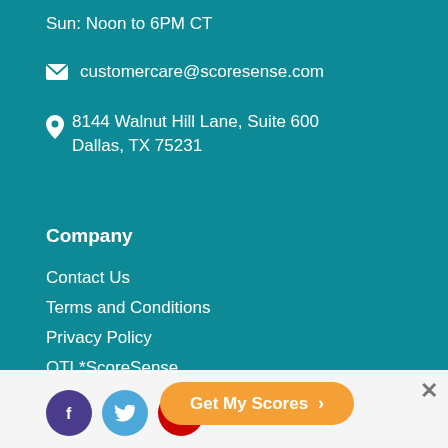Sun: Noon to 6PM CT
customercare@scoresense.com
8144 Walnut Hill Lane, Suite 600
Dallas, TX 75231
Company
Contact Us
Terms and Conditions
Privacy Policy
OTL*ScoreSense
[Figure (infographic): Social media icons: Facebook (dark purple circle), Twitter (light blue circle), YouTube (red circle)]
Get My Scores >